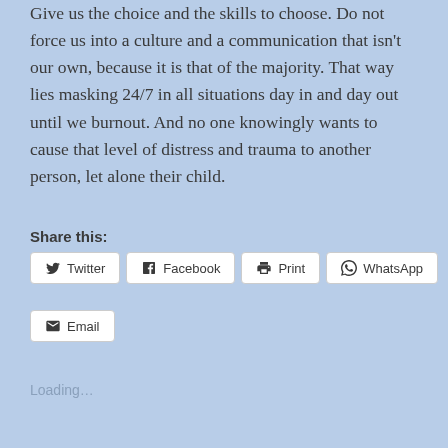Give us the choice and the skills to choose. Do not force us into a culture and a communication that isn't our own, because it is that of the majority. That way lies masking 24/7 in all situations day in and day out until we burnout. And no one knowingly wants to cause that level of distress and trauma to another person, let alone their child.
Share this:
Twitter
Facebook
Print
WhatsApp
Email
Loading...